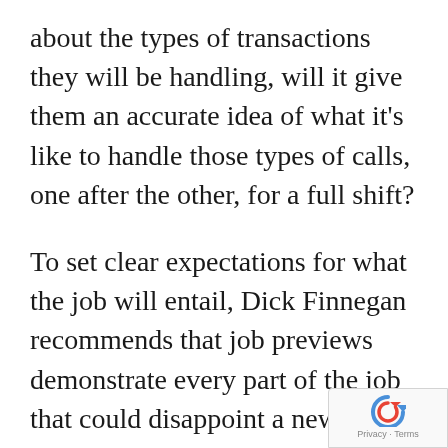about the types of transactions they will be handling, will it give them an accurate idea of what it’s like to handle those types of calls, one after the other, for a full shift?
To set clear expectations for what the job will entail, Dick Finnegan recommends that job previews demonstrate every part of the job that could disappoint a new employee, such as being inside in artificial light all day, dealing with difficult people and doing the same job redundantly. “Job candidates should
[Figure (other): reCAPTCHA badge with circular arrow icon and 'Privacy - Terms' text]